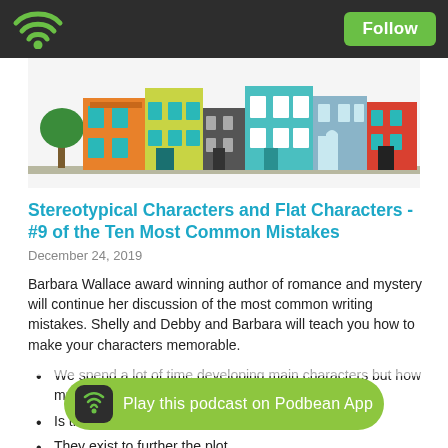Follow
[Figure (illustration): Colorful illustrated row of townhouses/storefronts with a green tree on the left side, featuring buildings in orange, green, teal, and red colors]
Stereotypical Characters and Flat Characters - #9 of the Ten Most Common Mistakes
December 24, 2019
Barbara Wallace award winning author of romance and mystery will continue her discussion of the most common writing mistakes.  Shelly and Debby and Barbara will teach you how to make your characters memorable.
We spend a lot of time developing main characters but how much time do we spend on secondary characters?
Is the secondary character necessary?
They exist to further the plot
How do you choose who is important to move the story along?
Holmes, who lacks social awareness, had Watson to balance him o...
May you be inspired, feel empowered, and b. well...
[Figure (logo): Podbean App play button bar with green background and podcast wifi icon]